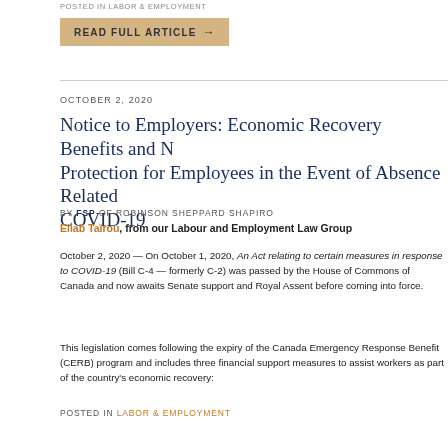POSTED IN LABOR & EMPLOYMENT
[Figure (other): READ FULL ARTICLE button with arrow]
OCTOBER 2, 2020
Notice to Employers: Economic Recovery Benefits and N… Protection for Employees in the Event of Absence Related… COVID-19
BY FSP OF ROBINSON SHEPPARD SHAPIRO
By Eliab Taïrou, from our Labour and Employment Law Group
October 2, 2020 — On October 1, 2020, An Act relating to certain measures in response to COVID-19 (Bill C-4 — formerly C-2) was passed by the House of Commons of Canada and now awaits Senate support and Royal Assent before coming into force.
This legislation comes following the expiry of the Canada Emergency Response Benefit (CERB) program and includes three financial support measures to assist workers as part of the country's economic recovery:
POSTED IN LABOR & EMPLOYMENT